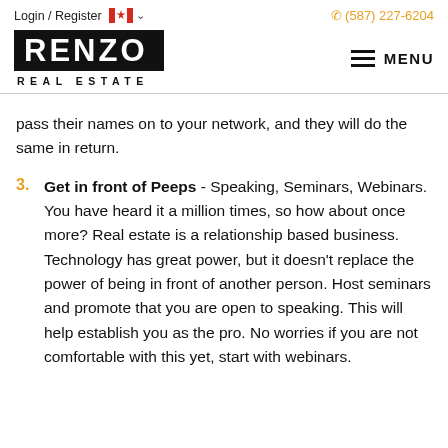Login / Register  (587) 227-6204
[Figure (logo): Renzo Real Estate logo — white text on black background reading RENZO, with REAL ESTATE in spaced letters below]
pass their names on to your network, and they will do the same in return.
3. Get in front of Peeps - Speaking, Seminars, Webinars. You have heard it a million times, so how about once more? Real estate is a relationship based business. Technology has great power, but it doesn't replace the power of being in front of another person. Host seminars and promote that you are open to speaking. This will help establish you as the pro. No worries if you are not comfortable with this yet, start with webinars.